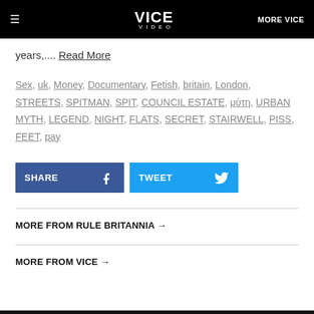VICE VIDEO  MORE VICE
years,.... Read More
Sex, uk, Money, Documentary, Fetish, britain, London, STREETS, SPITMAN, SPIT, COUNCIL ESTATE, μύτη, URBAN MYTH, LEGEND, NIGHT, FLATS, SECRET, STAIRWELL, PISS, FEET, pay
SHARE  TWEET
MORE FROM RULE BRITANNIA →
MORE FROM VICE →